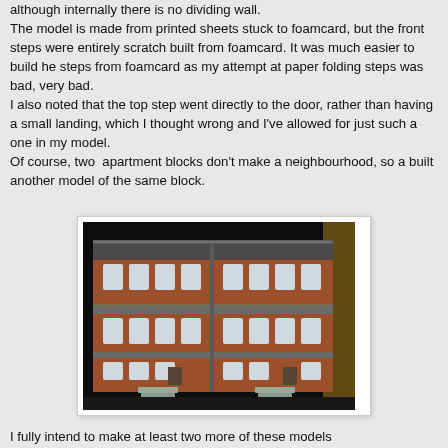although internally there is no dividing wall. The model is made from printed sheets stuck to foamcard, but the front steps were entirely scratch built from foamcard. It was much easier to build he steps from foamcard as my attempt at paper folding steps was bad, very bad. I also noted that the top step went directly to the door, rather than having a small landing, which I thought wrong and I've allowed for just such a one in my model. Of course, two apartment blocks don't make a neighbourhood, so a built another model of the same block.
[Figure (photo): A photograph of two model apartment building blocks made from foamcard and printed sheets, showing brick-textured walls, multiple windows, front steps, and dark rooftops.]
I fully intend to make at least two more of these models